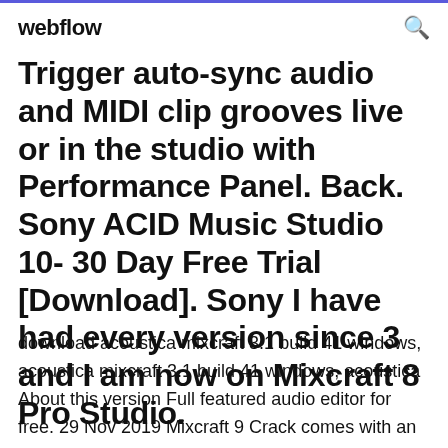webflow
Trigger auto-sync audio and MIDI clip grooves live or in the studio with Performance Panel. Back. Sony ACID Music Studio 10- 30 Day Free Trial [Download]. Sony I have had every version since 3 and I am now on Mixcraft 8 Pro Studio.
download acoustica mixcraft 3.1 build 41 windows, acoustica mixcraft 3.1 build 41 windows, acoustica About this version Full featured audio editor for free. 29 Nov 2019 Mixcraft 9 Crack comes with an atmosphere